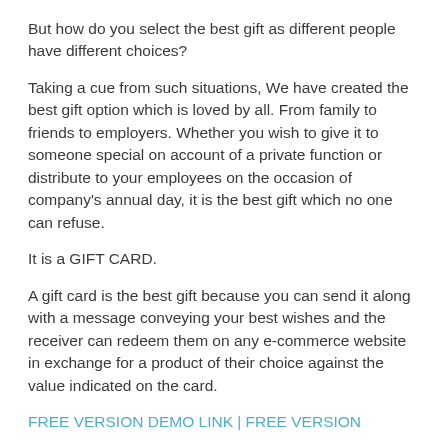But how do you select the best gift as different people have different choices?
Taking a cue from such situations, We have created the best gift option which is loved by all. From family to friends to employers. Whether you wish to give it to someone special on account of a private function or distribute to your employees on the occasion of company’s annual day, it is the best gift which no one can refuse.
It is a GIFT CARD.
A gift card is the best gift because you can send it along with a message conveying your best wishes and the receiver can redeem them on any e-commerce website in exchange for a product of their choice against the value indicated on the card.
FREE VERSION DEMO LINK | FREE VERSION